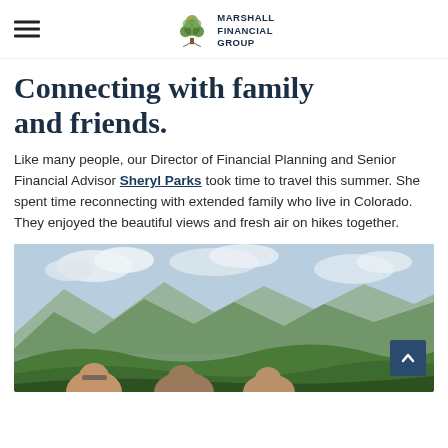Marshall Financial Group
Connecting with family and friends.
Like many people, our Director of Financial Planning and Senior Financial Advisor Sheryl Parks took time to travel this summer. She spent time reconnecting with extended family who live in Colorado. They enjoyed the beautiful views and fresh air on hikes together.
[Figure (photo): Group of people posing outdoors in a Colorado mountain landscape with green rolling hills and a partly cloudy sky in the background.]